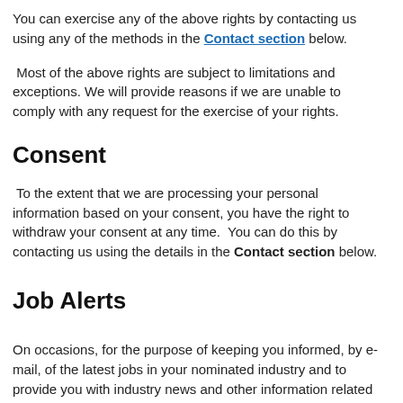You can exercise any of the above rights by contacting us using any of the methods in the Contact section below.
Most of the above rights are subject to limitations and exceptions. We will provide reasons if we are unable to comply with any request for the exercise of your rights.
Consent
To the extent that we are processing your personal information based on your consent, you have the right to withdraw your consent at any time. You can do this by contacting us using the details in the Contact section below.
Job Alerts
On occasions, for the purpose of keeping you informed, by e-mail, of the latest jobs in your nominated industry and to provide you with industry news and other information related to our services, you will receive email job alerts / communications